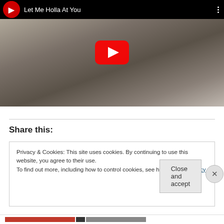[Figure (screenshot): YouTube video embed showing 'Let Me Holla At You' with a black and white photo of a person crouching in front of a garage door, with a large red YouTube play button overlay in the center.]
Share this:
Privacy & Cookies: This site uses cookies. By continuing to use this website, you agree to their use.
To find out more, including how to control cookies, see here: Cookie Policy
Close and accept